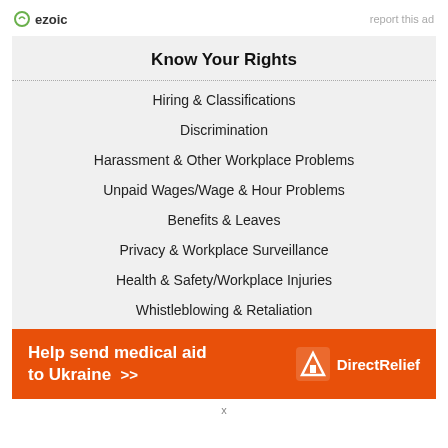ezoic   report this ad
Know Your Rights
Hiring & Classifications
Discrimination
Harassment & Other Workplace Problems
Unpaid Wages/Wage & Hour Problems
Benefits & Leaves
Privacy & Workplace Surveillance
Health & Safety/Workplace Injuries
Whistleblowing & Retaliation
[Figure (infographic): Orange advertisement banner: Help send medical aid to Ukraine >> with Direct Relief logo]
x